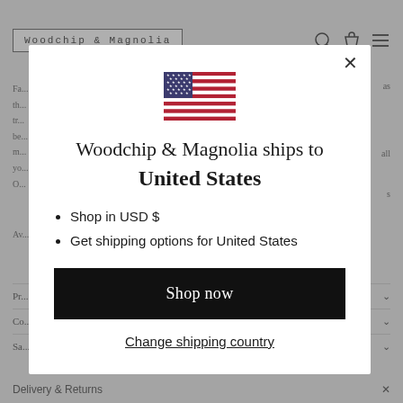[Figure (screenshot): Background website page of Woodchip & Magnolia product page, greyed out behind a modal dialog]
[Figure (illustration): US flag emoji/icon displayed at top center of modal]
Woodchip & Magnolia ships to
United States
Shop in USD $
Get shipping options for United States
Shop now
Change shipping country